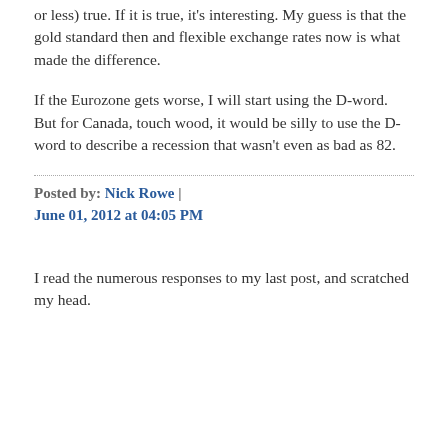or less) true. If it is true, it's interesting. My guess is that the gold standard then and flexible exchange rates now is what made the difference.
If the Eurozone gets worse, I will start using the D-word. But for Canada, touch wood, it would be silly to use the D-word to describe a recession that wasn't even as bad as 82.
Posted by: Nick Rowe | June 01, 2012 at 04:05 PM
I read the numerous responses to my last post, and scratched my head. All the…